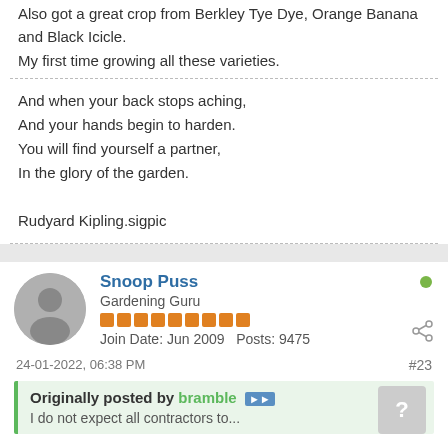Also got a great crop from Berkley Tye Dye, Orange Banana and Black Icicle.
My first time growing all these varieties.
And when your back stops aching,
And your hands begin to harden.
You will find yourself a partner,
In the glory of the garden.

Rudyard Kipling.sigpic
Snoop Puss
Gardening Guru
Join Date: Jun 2009   Posts: 9475
24-01-2022, 06:38 PM
#23
Originally posted by bramble
I do not expect all contractors to...